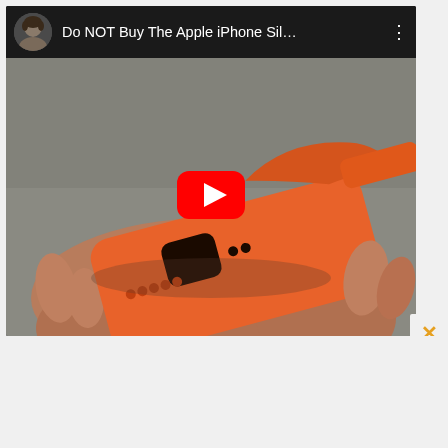[Figure (screenshot): YouTube video thumbnail showing a hand holding a deformed/torn orange iPhone silicone case. The video title reads 'Do NOT Buy The Apple iPhone Sil...' with a channel avatar in the top-left, three-dot menu in the top-right, and a red YouTube play button overlay in the center. A close (X) button in orange is visible in the bottom-right corner of the video player.]